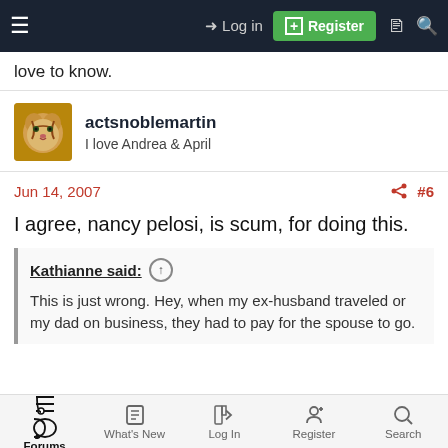Log in | Register
love to know.
actsnoblemartin
I love Andrea & April
Jun 14, 2007  #6
I agree, nancy pelosi, is scum, for doing this.
Kathianne said: ↑
This is just wrong. Hey, when my ex-husband traveled or my dad on business, they had to pay for the spouse to go.
Forums  What's New  Log In  Register  Search